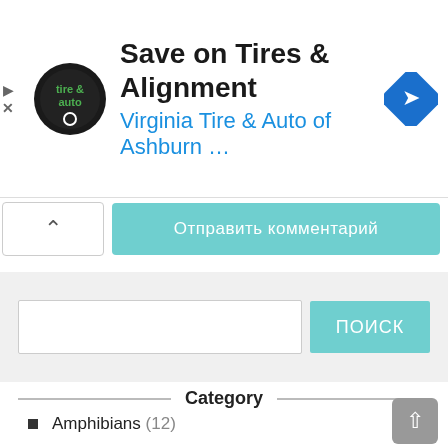[Figure (screenshot): Advertisement banner for Virginia Tire & Auto of Ashburn with logo, headline 'Save on Tires & Alignment', subtext 'Virginia Tire & Auto of Ashburn ...', and a blue navigation arrow icon]
Отправить комментарий
[Figure (screenshot): Search bar with teal 'ПОИСК' button on grey background]
Category
Amphibians (12)
Arachnids (12)